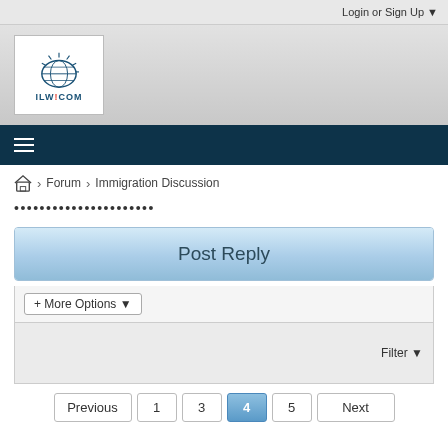Login or Sign Up ▼
[Figure (logo): ILW.COM logo with sun/globe icon]
≡
🏠 > Forum > Immigration Discussion
••••••••••••••••••••••
Post Reply
+ More Options ▾
Filter ▼
Previous  1  3  4  5  Next